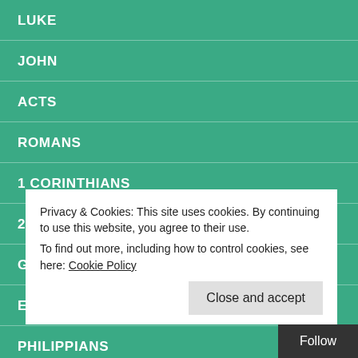LUKE
JOHN
ACTS
ROMANS
1 CORINTHIANS
2 CORINTHIANS
GALATIANS
EPHESIANS
PHILIPPIANS
Privacy & Cookies: This site uses cookies. By continuing to use this website, you agree to their use.
To find out more, including how to control cookies, see here: Cookie Policy
Close and accept
Follow